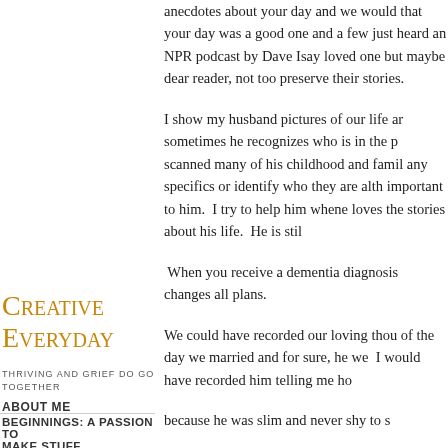anecdotes about your day and we would that your day was a good one and a few just heard an NPR podcast by Dave Isay loved one but maybe dear reader, not too preserve their stories.
I show my husband pictures of our life ar sometimes he recognizes who is in the p scanned many of his childhood and famil any specifics or identify who they are alt important to him. I try to help him whene loves the stories about his life. He is stil
Creative Everyday
THRIVING AND GRIEF DO GO TOGETHER
When you receive a dementia diagnosis changes all plans.
We could have recorded our loving thou of the day we married and for sure, he w I would have recorded him telling me ho
because he was slim and never shy to s
ABOUT ME
BEGINNINGS: A PASSION TO MAKE STUFF